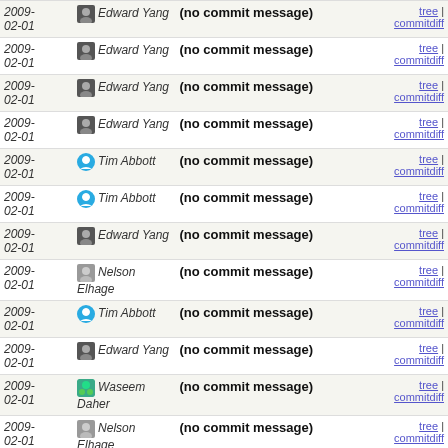| Date | Author | Message | Links |
| --- | --- | --- | --- |
| 2009-02-01 | Edward Yang | (no commit message) | tree | commitdiff |
| 2009-02-01 | Edward Yang | (no commit message) | tree | commitdiff |
| 2009-02-01 | Edward Yang | (no commit message) | tree | commitdiff |
| 2009-02-01 | Edward Yang | (no commit message) | tree | commitdiff |
| 2009-02-01 | Tim Abbott | (no commit message) | tree | commitdiff |
| 2009-02-01 | Tim Abbott | (no commit message) | tree | commitdiff |
| 2009-02-01 | Edward Yang | (no commit message) | tree | commitdiff |
| 2009-02-01 | Nelson Elhage | (no commit message) | tree | commitdiff |
| 2009-02-01 | Tim Abbott | (no commit message) | tree | commitdiff |
| 2009-02-01 | Edward Yang | (no commit message) | tree | commitdiff |
| 2009-02-01 | Waseem Daher | (no commit message) | tree | commitdiff |
| 2009-02-01 | Nelson Elhage | (no commit message) | tree | commitdiff |
| 2009-02-01 | Waseem | (no commit message) | tree | commitdiff |